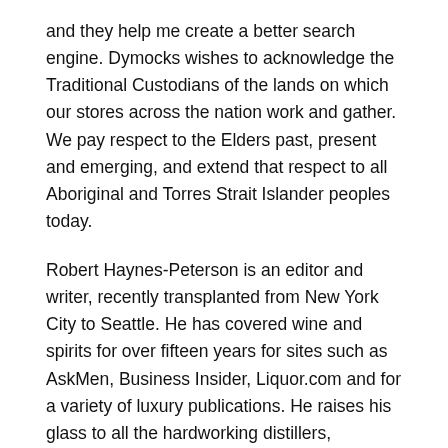and they help me create a better search engine. Dymocks wishes to acknowledge the Traditional Custodians of the lands on which our stores across the nation work and gather. We pay respect to the Elders past, present and emerging, and extend that respect to all Aboriginal and Torres Strait Islander peoples today.
Robert Haynes-Peterson is an editor and writer, recently transplanted from New York City to Seattle. He has covered wine and spirits for over fifteen years for sites such as AskMen, Business Insider, Liquor.com and for a variety of luxury publications. He raises his glass to all the hardworking distillers, blenders, bartenders and hospitality staff around the world. Rinku Bhattacharya loves all things spice and writes the blog Spice Chronicles. She is the author of three cookbooks, including The Bengali Five Spice Chronicles and Spices and Seasons.